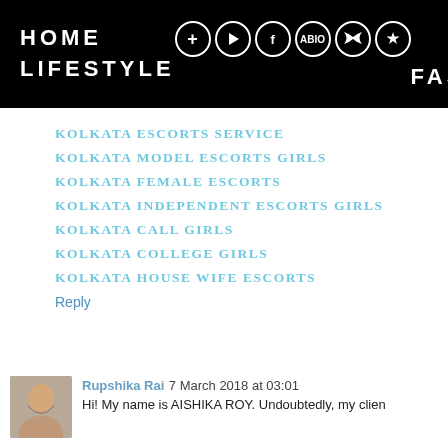HOME  LIFESTYLE  FASHION
KOLKATA ESCORTS SERVICE
KOLKATA MODEL ESCORTS GIRLS
KOLKATA FEMALE ESCORTS
KOLKATA INDEPENDENT ESCORTS GIRLS
KOLKATA CALL GIRLS
KOLKATA COLLEGE GIRLS
KOLKATA HOUSE WIFE ESCORTS
Reply
Rupshika Rai  7 March 2018 at 03:01
Hi! My name is AISHIKA ROY. Undoubtedly, my clien